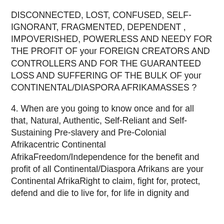DISCONNECTED, LOST, CONFUSED, SELF-IGNORANT, FRAGMENTED, DEPENDENT , IMPOVERISHED, POWERLESS AND NEEDY FOR THE PROFIT OF your FOREIGN CREATORS AND CONTROLLERS AND FOR THE GUARANTEED LOSS AND SUFFERING OF THE BULK OF your CONTINENTAL/DIASPORA AFRIKAMASSES ?
4. When are you going to know once and for all that, Natural, Authentic, Self-Reliant and Self-Sustaining Pre-slavery and Pre-Colonial Afrikacentric Continental AfrikaFreedom/Independence for the benefit and profit of all Continental/Diaspora Afrikans are your Continental AfrikaRight to claim, fight for, protect, defend and die to live for, for life in dignity and